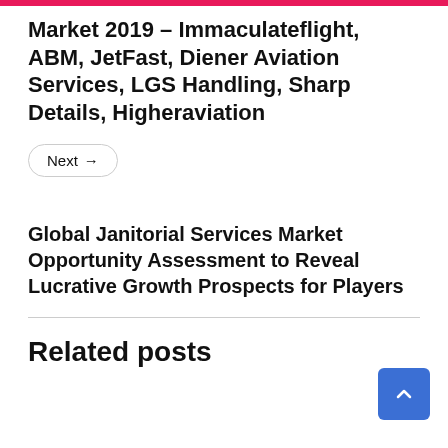Market 2019 – Immaculateflight, ABM, JetFast, Diener Aviation Services, LGS Handling, Sharp Details, Higheraviation
Next →
Global Janitorial Services Market Opportunity Assessment to Reveal Lucrative Growth Prospects for Players
Related posts